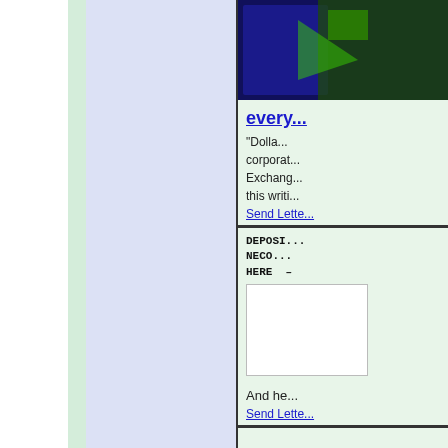[Figure (photo): Dark blue/green photo partially visible at top right of page]
every...
"Dolla... corporat... Exchang... this writi...
Send Lette...
[Figure (other): Deposit box with text: DEPOSI... NECO... HERE -]
And he...
Send Lette...
[Figure (logo): G- logo with star, red and blue colors, partially visible]